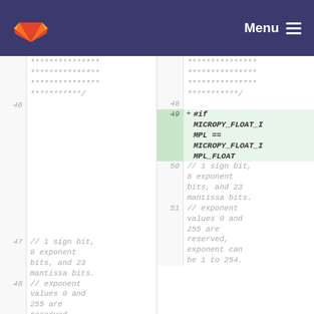Menu
Left diff pane lines 46-48 with asterisk comment lines and code comments // 1 sign bit, 8 exponent bits, and 23 mantissa bits. // exponent values 0 and 255 are reserved, exponent can be 1 to 254.
Right diff pane lines 48-51 with added line 49: #if MICROPY_FLOAT_IMPL == MICROPY_FLOAT_IMPL_FLOAT and code comments // 1 sign bit, 8 exponent bits, and 23 mantissa bits. // exponent values 0 and 255 are reserved, exponent can be 1 to 254.